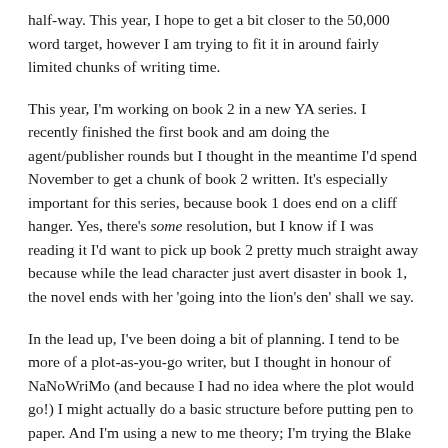half-way. This year, I hope to get a bit closer to the 50,000 word target, however I am trying to fit it in around fairly limited chunks of writing time.
This year, I'm working on book 2 in a new YA series. I recently finished the first book and am doing the agent/publisher rounds but I thought in the meantime I'd spend November to get a chunk of book 2 written. It's especially important for this series, because book 1 does end on a cliff hanger. Yes, there's some resolution, but I know if I was reading it I'd want to pick up book 2 pretty much straight away because while the lead character just avert disaster in book 1, the novel ends with her 'going into the lion's den' shall we say.
In the lead up, I've been doing a bit of planning. I tend to be more of a plot-as-you-go writer, but I thought in honour of NaNoWriMo (and because I had no idea where the plot would go!) I might actually do a basic structure before putting pen to paper. And I'm using a new to me theory; I'm trying the Blake